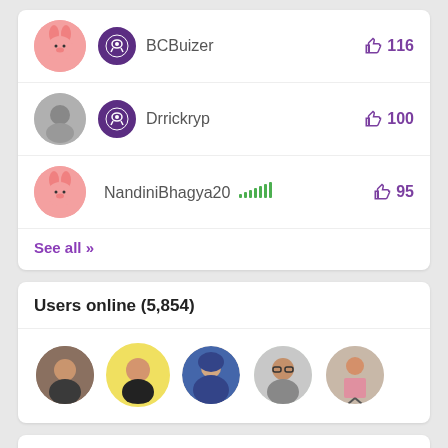BCBuizer 116 likes
Drrickryp 100 likes
NandiniBhagya20 95 likes
See all »
Users online (5,854)
[Figure (photo): Five circular user avatar photos displayed in a row representing users online]
Top Tags